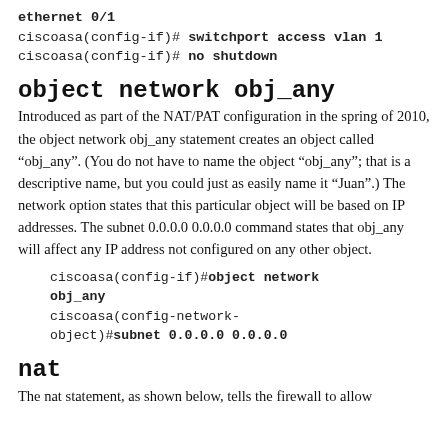ethernet 0/1
ciscoasa(config-if)# switchport access vlan 1
ciscoasa(config-if)# no shutdown
object network obj_any
Introduced as part of the NAT/PAT configuration in the spring of 2010, the object network obj_any statement creates an object called “obj_any”. (You do not have to name the object “obj_any”; that is a descriptive name, but you could just as easily name it “Juan”.) The network option states that this particular object will be based on IP addresses. The subnet 0.0.0.0 0.0.0.0 command states that obj_any will affect any IP address not configured on any other object.
ciscoasa(config-if)#object network obj_any
ciscoasa(config-network-object)#subnet 0.0.0.0 0.0.0.0
nat
The nat statement, as shown below, tells the firewall to allow